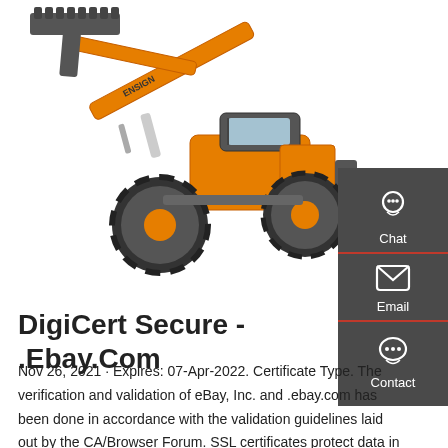[Figure (photo): Orange ENSIGN wheel loader / front loader construction machine with raised bucket, on white background]
[Figure (infographic): Dark gray sidebar with three contact options: Chat (headset icon), Email (envelope icon), Contact (speech bubble icon), separated by red lines]
DigiCert Secure - .Ebay.Com
Nov 26, 2021 · Expires: 07-Apr-2022. Certificate Type. The verification and validation of eBay, Inc. and .ebay.com has been done in accordance with the validation guidelines laid out by the CA/Browser Forum. SSL certificates protect data in transit between users and the websites they are connected to.